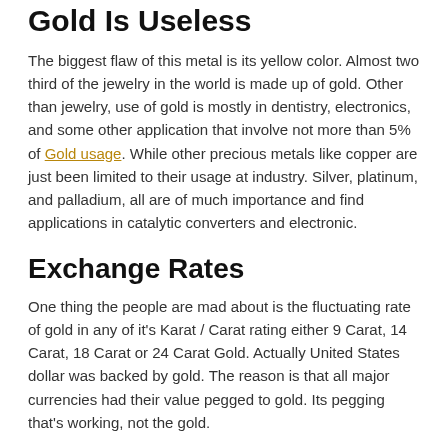Gold Is Useless
The biggest flaw of this metal is its yellow color. Almost two third of the jewelry in the world is made up of gold. Other than jewelry, use of gold is mostly in dentistry, electronics, and some other application that involve not more than 5% of Gold usage. While other precious metals like copper are just been limited to their usage at industry. Silver, platinum, and palladium, all are of much importance and find applications in catalytic converters and electronic.
Exchange Rates
One thing the people are mad about is the fluctuating rate of gold in any of it's Karat / Carat rating either 9 Carat, 14 Carat, 18 Carat or 24 Carat Gold. Actually United States dollar was backed by gold. The reason is that all major currencies had their value pegged to gold. Its pegging that's working, not the gold.
Gold-Backed Money